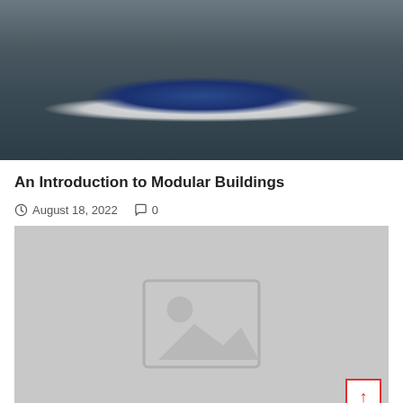[Figure (photo): Aerial or top-down view of a modern building exterior with a distinctive blue elliptical design element on a white/light concrete surface, photographed at dusk or evening]
An Introduction to Modular Buildings
August 18, 2022  0
[Figure (photo): Placeholder image with standard image-not-available icon (landscape with sun and mountains outline) on gray background]